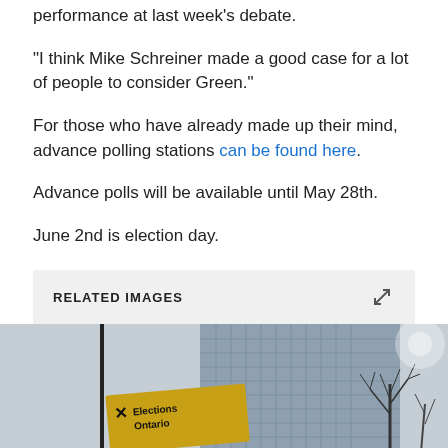performance at last week's debate.
“I think Mike Schreiner made a good case for a lot of people to consider Green.”
For those who have already made up their mind, advance polling stations can be found here.
Advance polls will be available until May 28th.
June 2nd is election day.
RELATED IMAGES
[Figure (photo): Elections Ontario sign in front of a building with bare winter trees]